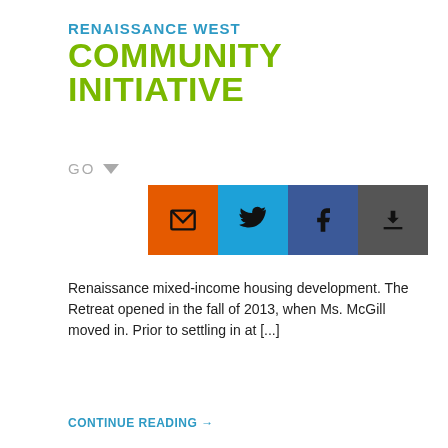RENAISSANCE WEST COMMUNITY INITIATIVE
[Figure (other): Navigation GO dropdown with triangle arrow]
[Figure (other): Social sharing buttons: email (orange), Twitter (blue), Facebook (dark blue), download (dark gray)]
Renaissance mixed-income housing development. The Retreat opened in the fall of 2013, when Ms. McGill moved in. Prior to settling in at [...]
CONTINUE READING →
[Figure (other): Green banner with large bold text reading COULD NEW]
[Figure (other): reCAPTCHA widget with Privacy · Terms text]